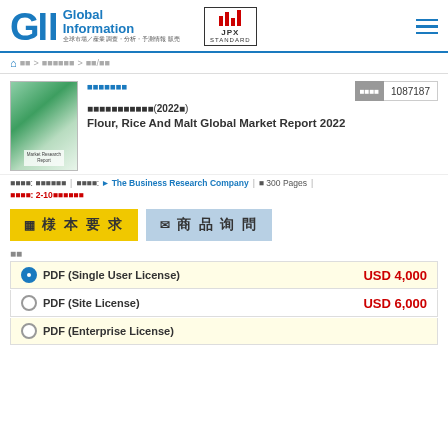GII Global Information / JPX Standard logo header
ホーム > 食料品・農業 > 穀物/豆
[Figure (other): Market Research Report book cover thumbnail with green gradient design]
調査会社
整理番号: 1087187
フラワー・ライス・モルトの世界市場(2022年)
Flour, Rice And Malt Global Market Report 2022
調査地域: 世界規模 | 調査会社: The Business Research Company | 約 300 Pages | 納期: 2-10営業日
様本要求
商品询問
形式
| License Type | Price |
| --- | --- |
| PDF (Single User License) | USD 4,000 |
| PDF (Site License) | USD 6,000 |
| PDF (Enterprise License) |  |